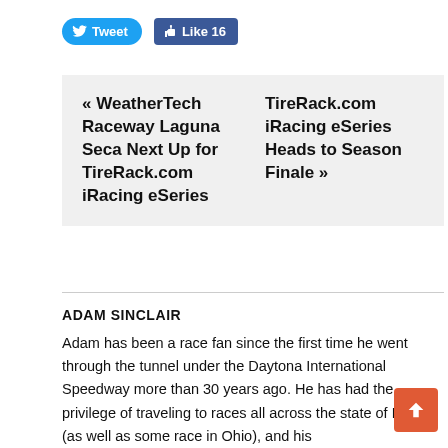[Figure (screenshot): Social media buttons: Tweet button (Twitter blue) and Like 16 button (Facebook blue)]
« WeatherTech Raceway Laguna Seca Next Up for TireRack.com iRacing eSeries
TireRack.com iRacing eSeries Heads to Season Finale »
ADAM SINCLAIR
Adam has been a race fan since the first time he went through the tunnel under the Daytona International Speedway more than 30 years ago. He has had the privilege of traveling to races all across the state of Florida (as well as some race in Ohio), and his
[Figure (other): Back to top orange arrow button]